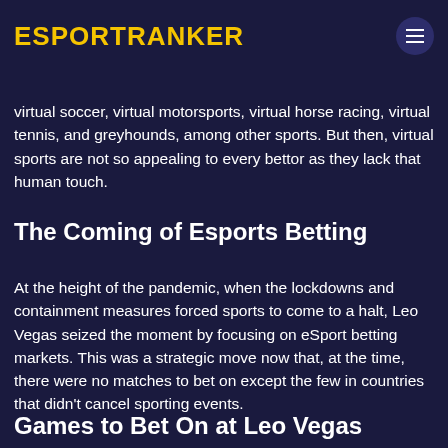ESPORTRANKER
With the launch of Esports betting, the company also added virtual sports. Players could now bet on virtual soccer, virtual motorsports, virtual horse racing, virtual tennis, and greyhounds, among other sports. But then, virtual sports are not so appealing to every bettor as they lack that human touch.
The Coming of Esports Betting
At the height of the pandemic, when the lockdowns and containment measures forced sports to come to a halt, Leo Vegas seized the moment by focusing on eSport betting markets. This was a strategic move now that, at the time, there were no matches to bet on except the few in countries that didn't cancel sporting events.
Games to Bet On at Leo Vegas